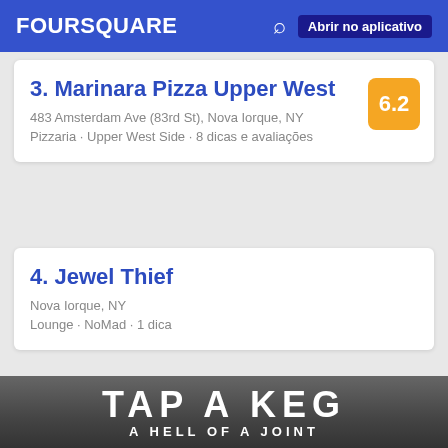FOURSQUARE  Abrir no aplicativo
3. Marinara Pizza Upper West
483 Amsterdam Ave (83rd St), Nova Iorque, NY
Pizzaria · Upper West Side · 8 dicas e avaliações
4. Jewel Thief
Nova Iorque, NY
Lounge · NoMad · 1 dica
[Figure (photo): Black and white photo of a bar sign reading TAP A KEG / A HELL OF A JOINT]